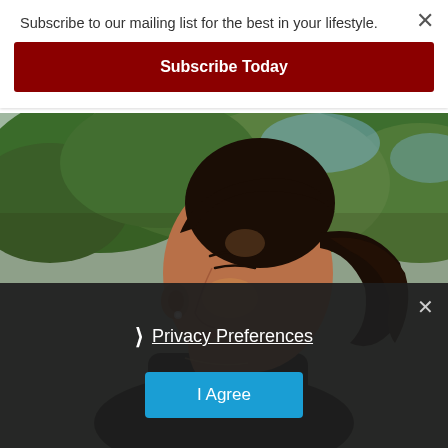Subscribe to our mailing list for the best in your lifestyle.
Subscribe Today
[Figure (photo): Side profile of a young woman with dark hair pulled back in a ponytail, eyes closed, wearing a small stud earring, with green trees in the background. Natural sunlit outdoor photo.]
Privacy Preferences
I Agree